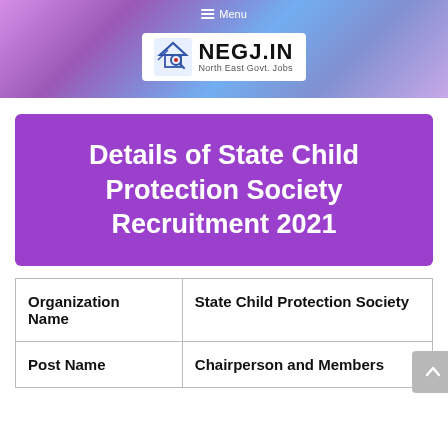[Figure (logo): NEGJ.IN North East Govt. Jobs logo with banner header showing menu icon and colorful gradient background]
Details of State Child Protection Society Recruitment 2021
| Organization Name | State Child Protection Society |
| Post Name | Chairperson and Members |